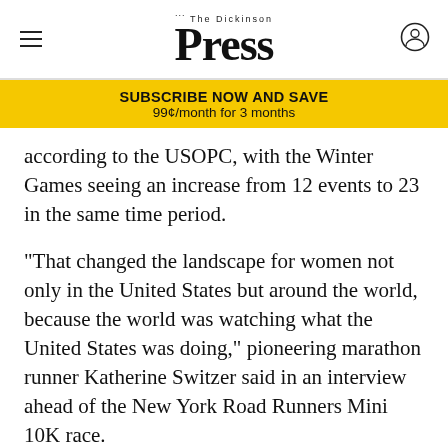The Dickinson Press
SUBSCRIBE NOW AND SAVE
99¢/month for 3 months
according to the USOPC, with the Winter Games seeing an increase from 12 events to 23 in the same time period.
"That changed the landscape for women not only in the United States but around the world, because the world was watching what the United States was doing," pioneering marathon runner Katherine Switzer said in an interview ahead of the New York Road Runners Mini 10K race.
Switzer was the first woman to run the Boston Marathon as a registered competitor, after challenging a ban on female runners and